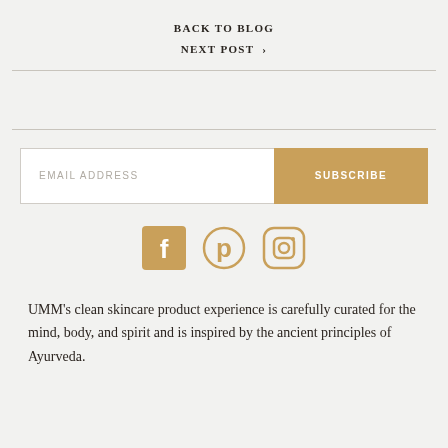BACK TO BLOG
NEXT POST >
[Figure (other): Email subscription form with EMAIL ADDRESS input field and SUBSCRIBE button in gold]
[Figure (other): Social media icons: Facebook, Pinterest, Instagram in gold/tan color]
UMM’s clean skincare product experience is carefully curated for the mind, body, and spirit and is inspired by the ancient principles of Ayurveda.